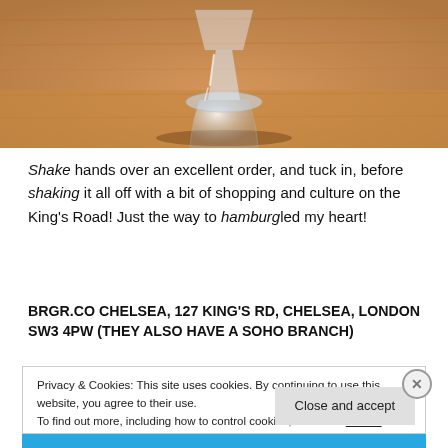[Figure (photo): Close-up photo of the base of a clear glass cocktail glass resting on a warm-toned wooden table surface. The background is blurred warm wood grain.]
Shake hands over an excellent order, and tuck in, before shaking it all off with a bit of shopping and culture on the King's Road! Just the way to hamburgled my heart!
BRGR.CO CHELSEA, 127 KING'S RD, CHELSEA, LONDON SW3 4PW (THEY ALSO HAVE A SOHO BRANCH)
Privacy & Cookies: This site uses cookies. By continuing to use this website, you agree to their use.
To find out more, including how to control cookies, see here: Cookie Policy
Close and accept